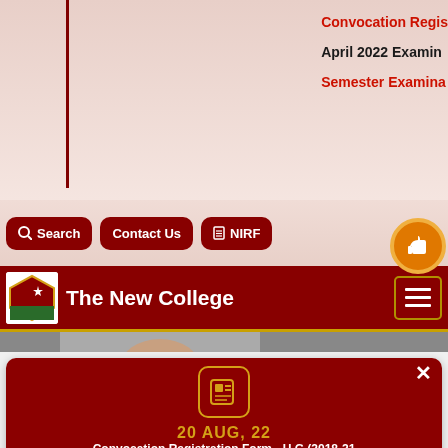Convocation Regis(tration)
April 2022 Examin(ation)
Semester Examina(tion)
Search
Contact Us
NIRF
The New College
[Figure (logo): The New College logo/crest]
[Figure (photo): Partial photo of a person, visible in a strip]
20 AUG, 22
Convocation Registration Form - U.G (2018-21